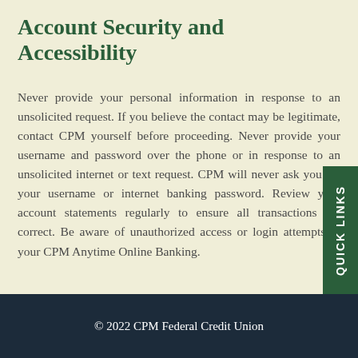Account Security and Accessibility
Never provide your personal information in response to an unsolicited request. If you believe the contact may be legitimate, contact CPM yourself before proceeding. Never provide your username and password over the phone or in response to an unsolicited internet or text request. CPM will never ask you for your username or internet banking password. Review your account statements regularly to ensure all transactions are correct. Be aware of unauthorized access or login attempts to your CPM Anytime Online Banking.
© 2022 CPM Federal Credit Union